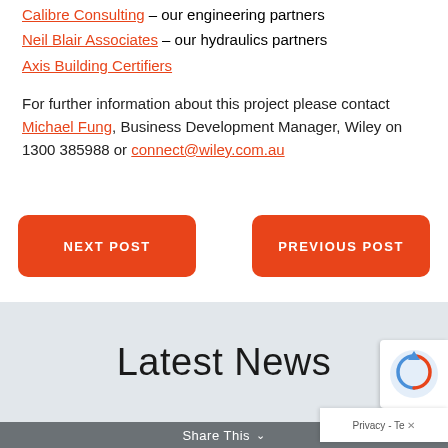Calibre Consulting – our engineering partners
Neil Blair Associates – our hydraulics partners
Axis Building Certifiers
For further information about this project please contact Michael Fung, Business Development Manager, Wiley on 1300 385988 or connect@wiley.com.au
NEXT POST
PREVIOUS POST
Latest News
Share This